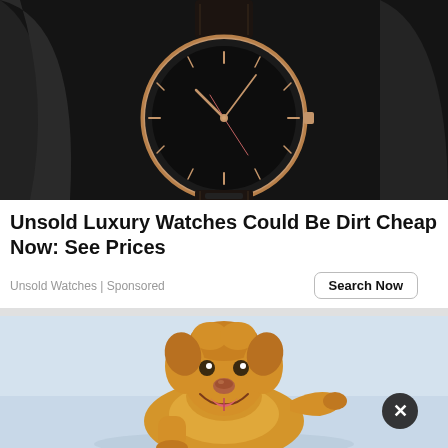[Figure (photo): Close-up product photo of a minimalist luxury watch with a black dial, rose gold case and markers, black leather strap, displayed against a dark textured background.]
Unsold Luxury Watches Could Be Dirt Cheap Now: See Prices
Unsold Watches | Sponsored
[Figure (photo): Photo of a happy fluffy golden-colored dog (Chow Chow) with mouth open, light blue-gray background, with a circular close/dismiss button overlay in the bottom right.]